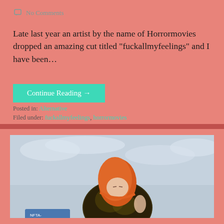No Comments
Late last year an artist by the name of Horrormovies dropped an amazing cut titled “fuckallmyfeelings” and I have been…
Continue Reading →
Posted in: Alternative
Filed under: fuckallmyfeelings, horrormovies
[Figure (photo): Person with orange/red hair wearing a dark floral hoodie, photographed from below against a cloudy grey sky. A blue bus or vehicle is partially visible at the bottom.]